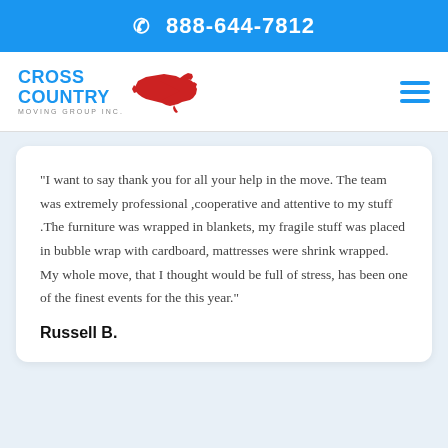📞 888-644-7812
[Figure (logo): Cross Country Moving Group Inc logo with red USA map silhouette and blue text]
"I want to say thank you for all your help in the move. The team was extremely professional ,cooperative and attentive to my stuff .The furniture was wrapped in blankets, my fragile stuff was placed in bubble wrap with cardboard, mattresses were shrink wrapped. My whole move, that I thought would be full of stress, has been one of the finest events for the this year."
Russell B.